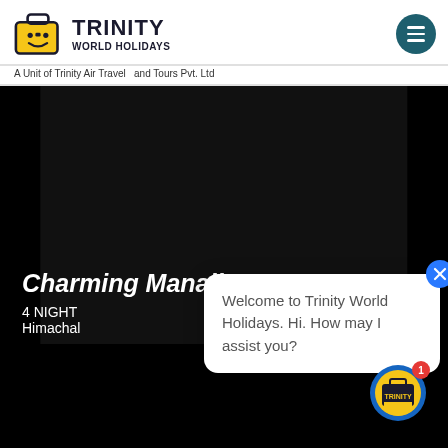[Figure (logo): Trinity World Holidays logo with yellow suitcase icon and company name]
A Unit of Trinity Air Travel and Tours Pvt. Ltd
[Figure (photo): Black background image area representing Charming Manali travel package]
Charming Manali
4 NIGHT
Himachal
Welcome to Trinity World Holidays. Hi. How may I assist you?